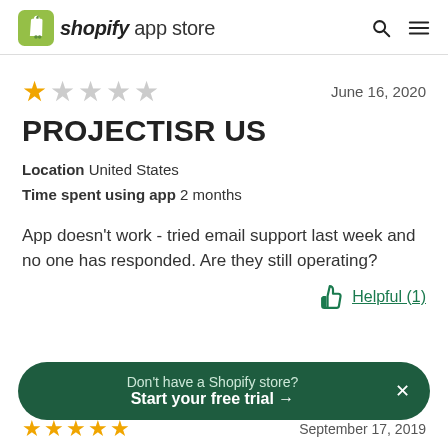shopify app store
June 16, 2020
PROJECTISR US
Location   United States
Time spent using app   2 months
App doesn't work - tried email support last week and no one has responded. Are they still operating?
Helpful (1)
Don't have a Shopify store? Start your free trial →
September 17, 2019